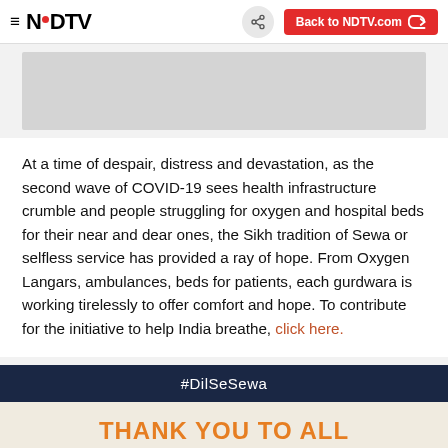NDTV — Back to NDTV.com
[Figure (photo): Gray image placeholder at top of article]
At a time of despair, distress and devastation, as the second wave of COVID-19 sees health infrastructure crumble and people struggling for oxygen and hospital beds for their near and dear ones, the Sikh tradition of Sewa or selfless service has provided a ray of hope. From Oxygen Langars, ambulances, beds for patients, each gurdwara is working tirelessly to offer comfort and hope. To contribute for the initiative to help India breathe, click here.
#DilSeSewa
THANK YOU TO ALL CONTRIBUTORS